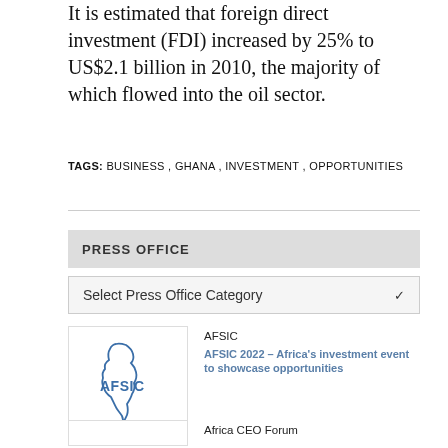It is estimated that foreign direct investment (FDI) increased by 25% to US$2.1 billion in 2010, the majority of which flowed into the oil sector.
TAGS: BUSINESS, GHANA, INVESTMENT, OPPORTUNITIES
PRESS OFFICE
Select Press Office Category
AFSIC
AFSIC 2022 – Africa's investment event to showcase opportunities
Africa CEO Forum